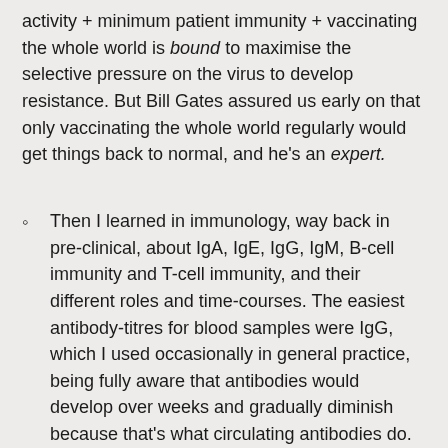activity + minimum patient immunity + vaccinating the whole world is bound to maximise the selective pressure on the virus to develop resistance. But Bill Gates assured us early on that only vaccinating the whole world regularly would get things back to normal, and he's an expert.
Then I learned in immunology, way back in pre-clinical, about IgA, IgE, IgG, IgM, B-cell immunity and T-cell immunity, and their different roles and time-courses. The easiest antibody-titres for blood samples were IgG, which I used occasionally in general practice, being fully aware that antibodies would develop over weeks and gradually diminish because that's what circulating antibodies do. But in COVID, IgG has suddenly become "The